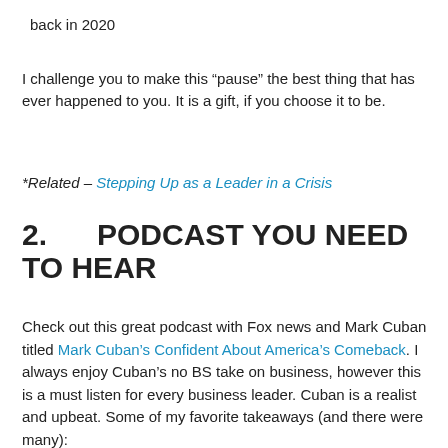back in 2020
I challenge you to make this “pause” the best thing that has ever happened to you. It is a gift, if you choose it to be.
*Related – Stepping Up as a Leader in a Crisis
2.      PODCAST YOU NEED TO HEAR
Check out this great podcast with Fox news and Mark Cuban titled Mark Cuban’s Confident About America’s Comeback. I always enjoy Cuban’s no BS take on business, however this is a must listen for every business leader. Cuban is a realist and upbeat. Some of my favorite takeaways (and there were many):